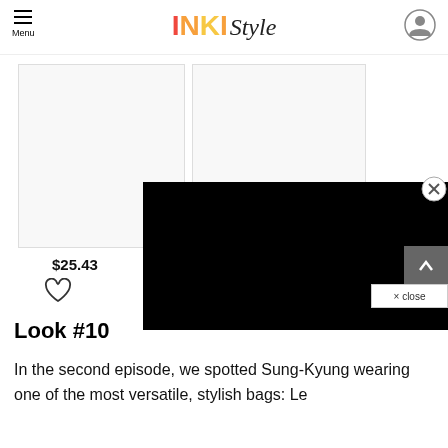INKI Style — Menu | User icon
[Figure (photo): Two product images side by side (white/blank placeholders); price label $25.43 and heart/wishlist icon below left image; black ad overlay rectangle covering right portion; close (X) button top right of overlay; scroll-to-top arrow button and × close bar bottom right.]
Look #10
In the second episode, we spotted Sung-Kyung wearing one of the most versatile, stylish bags: Le... (continues)